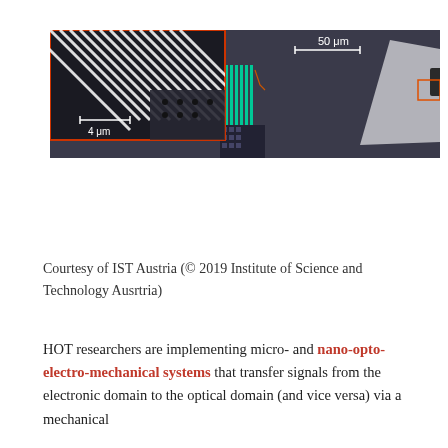[Figure (photo): Microscope image of a nano-opto-electro-mechanical system chip. Contains an inset (lower left) showing a zoomed view with diagonal striped pattern and scale bar '4 μm'. Main image shows a larger chip view with scale bar '50 μm', featuring a square chip element with circuitry, colored traces (teal and orange), and blue arrows on dark background.]
Courtesy of IST Austria (© 2019 Institute of Science and Technology Ausrtria)
HOT researchers are implementing micro- and nano-opto-electro-mechanical systems that transfer signals from the electronic domain to the optical domain (and vice versa) via a mechanical